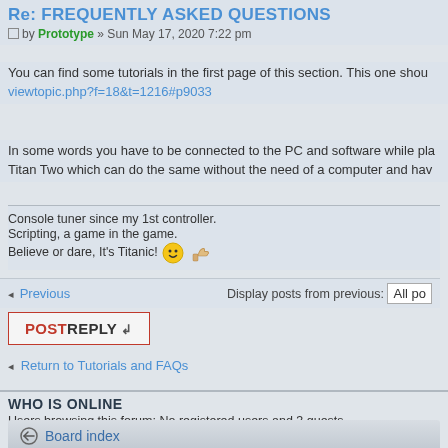Re: FREQUENTLY ASKED QUESTIONS
by Prototype » Sun May 17, 2020 7:22 pm
You can find some tutorials in the first page of this section. This one shou viewtopic.php?f=18&t=1216#p9033
In some words you have to be connected to the PC and software while pla Titan Two which can do the same without the need of a computer and hav
Console tuner since my 1st controller.
Scripting, a game in the game.
Believe or dare, It's Titanic!
Previous
Display posts from previous: All po
POSTREPLY
Return to Tutorials and FAQs
WHO IS ONLINE
Users browsing this forum: No registered users and 3 guests
Board index